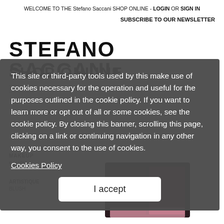WELCOME TO THE Stefano Saccani SHOP ONLINE - LOGIN OR SIGN IN
SUBSCRIBE TO OUR NEWSLETTER
STEFANO SACCANI
SHOP ONLINE
This site or third-party tools used by this make use of cookies necessary for the operation and useful for the purposes outlined in the cookie policy. If you want to learn more or opt out of all or some cookies, see the cookie policy. By closing this banner, scrolling this page, clicking on a link or continuing navigation in any other way, you consent to the use of cookies.
Cookies Policy
I accept
Indietro
MAKEUP
BLUSH
ARTISTIQUE BLUSH
[Figure (photo): Makeup blush product - dark compact palette partially visible]